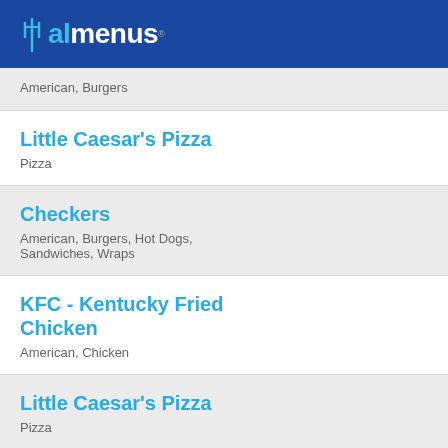allmenus
American, Burgers
Little Caesar's Pizza
Pizza
Checkers
American, Burgers, Hot Dogs, Sandwiches, Wraps
KFC - Kentucky Fried Chicken
American, Chicken
Little Caesar's Pizza
Pizza